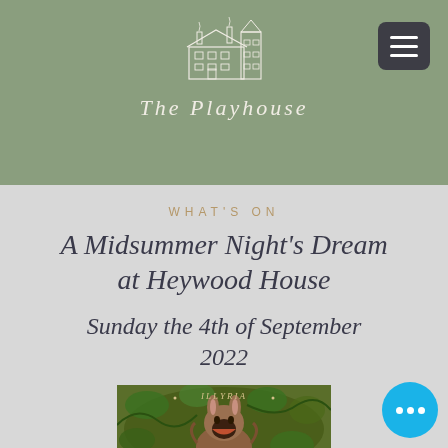[Figure (logo): The Playhouse logo — line-drawn illustration of a house/building with chimneys, white on sage green background]
The Playhouse
WHAT'S ON
A Midsummer Night's Dream at Heywood House
Sunday the 4th of September 2022
[Figure (illustration): Medieval-style illustration showing a donkey-headed figure (Bottom from A Midsummer Night's Dream) amid green foliage, with text 'ILLYRIA' at top]